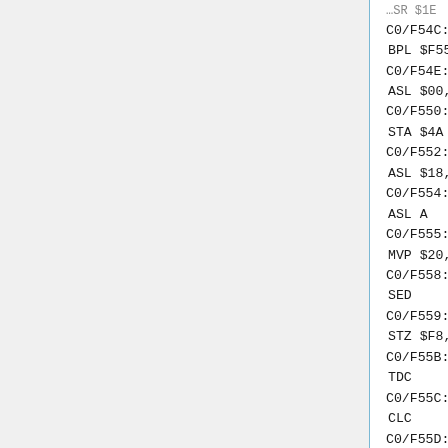C0/F54C:    100A
BPL $F558
C0/F54E:    1600
ASL $00,X
C0/F550:    854A
STA $4A
C0/F552:    1618
ASL $18,X
C0/F554:    0A
ASL A
C0/F555:    442052
MVP $20,$52
C0/F558:    F8
SED
C0/F559:    74F8
STZ $F8,X
C0/F55B:    7B
TDC
C0/F55C:    18
CLC
C0/F55D:    0000
BRK #$00
C0/F55F:    18
CLC
C0/F560:    ...